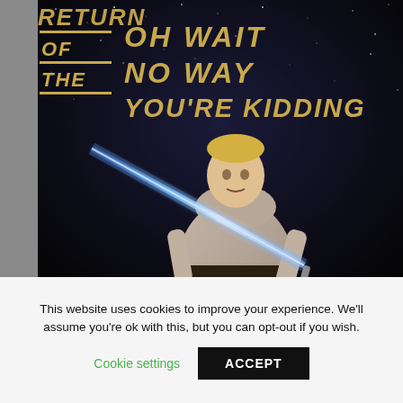[Figure (photo): Meme image featuring a Star Wars 'Return of the Jedi' style title logo on dark starfield background with text 'OH WAIT NO WAY YOU'RE KIDDING' in gold Star Wars font, and a figure in Jedi robes with a lightsaber (Eminem's face) in the foreground.]
This website uses cookies to improve your experience. We'll assume you're ok with this, but you can opt-out if you wish.
Cookie settings
ACCEPT